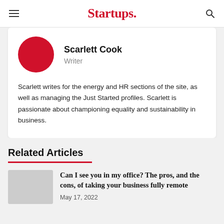Startups.
[Figure (photo): Red circular avatar placeholder for author Scarlett Cook]
Scarlett Cook
Writer
Scarlett writes for the energy and HR sections of the site, as well as managing the Just Started profiles. Scarlett is passionate about championing equality and sustainability in business.
Related Articles
[Figure (photo): Thumbnail image for related article about remote working]
Can I see you in my office? The pros, and the cons, of taking your business fully remote
May 17, 2022